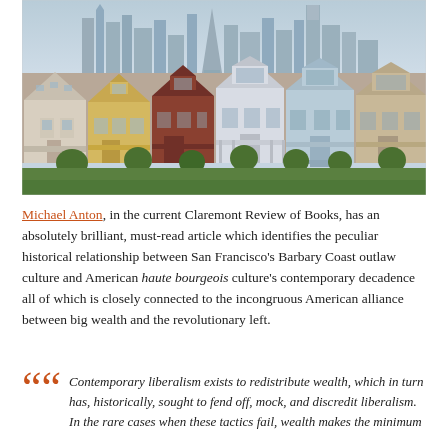[Figure (photo): Photograph of the Painted Ladies Victorian houses in San Francisco with the city skyline in the background and green lawn in the foreground.]
Michael Anton, in the current Claremont Review of Books, has an absolutely brilliant, must-read article which identifies the peculiar historical relationship between San Francisco's Barbary Coast outlaw culture and American haute bourgeois culture's contemporary decadence all of which is closely connected to the incongruous American alliance between big wealth and the revolutionary left.
Contemporary liberalism exists to redistribute wealth, which in turn has, historically, sought to fend off, mock, and discredit liberalism. In the rare cases when these tactics fail, wealth makes the minimum